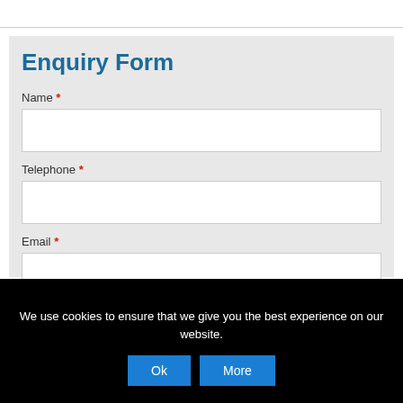Enquiry Form
Name *
Telephone *
Email *
We use cookies to ensure that we give you the best experience on our website.